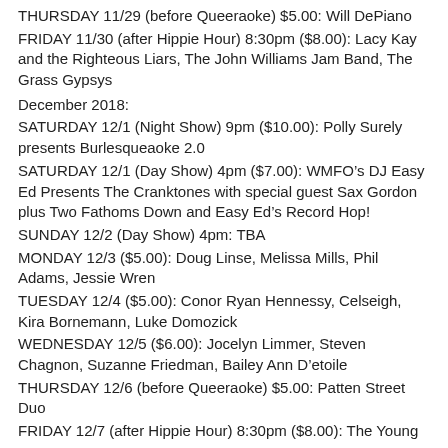THURSDAY 11/29 (before Queeraoke) $5.00: Will DePiano
FRIDAY 11/30 (after Hippie Hour) 8:30pm ($8.00): Lacy Kay and the Righteous Liars, The John Williams Jam Band, The Grass Gypsys
December 2018:
SATURDAY 12/1 (Night Show) 9pm ($10.00): Polly Surely presents Burlesqueaoke 2.0
SATURDAY 12/1 (Day Show) 4pm ($7.00): WMFO’s DJ Easy Ed Presents The Cranktones with special guest Sax Gordon plus Two Fathoms Down and Easy Ed’s Record Hop!
SUNDAY 12/2 (Day Show) 4pm: TBA
MONDAY 12/3 ($5.00): Doug Linse, Melissa Mills, Phil Adams, Jessie Wren
TUESDAY 12/4 ($5.00): Conor Ryan Hennessy, Celseigh, Kira Bornemann, Luke Domozick
WEDNESDAY 12/5 ($6.00): Jocelyn Limmer, Steven Chagnon, Suzanne Friedman, Bailey Ann D’etoile
THURSDAY 12/6 (before Queeraoke) $5.00: Patten Street Duo
FRIDAY 12/7 (after Hippie Hour) 8:30pm ($8.00): The Young